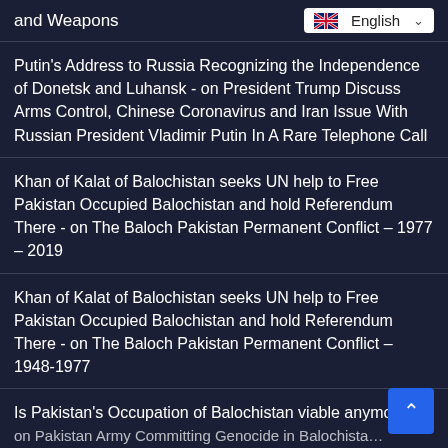and Weapons
English
Putin's Address to Russia Recognizing the Independence of Donetsk and Luhansk - on President Trump Discuss Arms Control, Chinese Coronavirus and Iran Issue With Russian President Vladimir Putin In A Rare Telephone Call
Khan of Kalat of Balochistan seeks UN help to Free Pakistan Occupied Balochistan and hold Referendum There - on The Baloch Pakistan Permanent Conflict – 1977 – 2019
Khan of Kalat of Balochistan seeks UN help to Free Pakistan Occupied Balochistan and hold Referendum There - on The Baloch Pakistan Permanent Conflict – 1948-1977
Is Pakistan's Occupation of Balochistan viable anymore - on Pakistan Army Committing Genocide in Balochista…